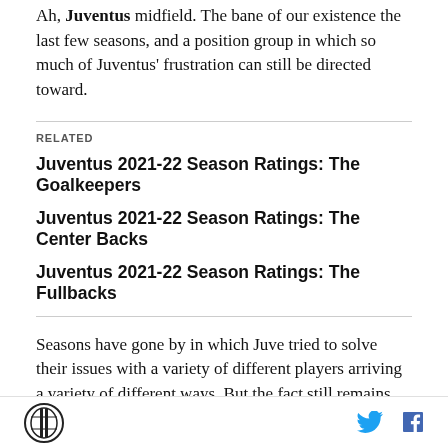Ah, Juventus midfield. The bane of our existence the last few seasons, and a position group in which so much of Juventus' frustration can still be directed toward.
RELATED
Juventus 2021-22 Season Ratings: The Goalkeepers
Juventus 2021-22 Season Ratings: The Center Backs
Juventus 2021-22 Season Ratings: The Fullbacks
Seasons have gone by in which Juve tried to solve their issues with a variety of different players arriving a variety of different ways. But the fact still remains that